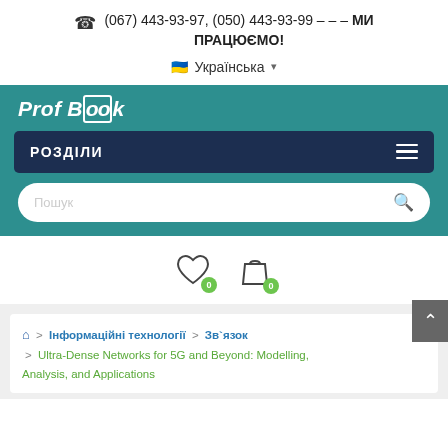(067) 443-93-97, (050) 443-93-99 — — — МИ ПРАЦЮЄМО!
🇺🇦 Українська ▾
Prof Book
РОЗДІЛИ
Пошук
[Figure (infographic): Heart/wishlist icon with badge 0 and shopping bag icon with badge 0]
🏠 › Інформаційні технології › Зв'язок › Ultra-Dense Networks for 5G and Beyond: Modelling, Analysis, and Applications